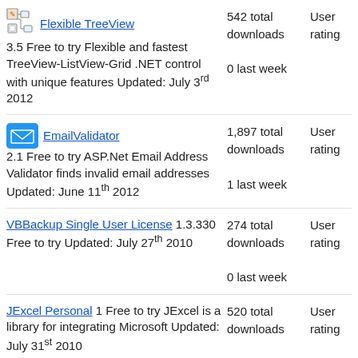Flexible TreeView 3.5 Free to try Flexible and fastest TreeView-ListView-Grid .NET control with unique features Updated: July 3rd 2012 | 542 total downloads | 0 last week | User rating
EmailValidator 2.1 Free to try ASP.Net Email Address Validator finds invalid email addresses Updated: June 11th 2012 | 1,897 total downloads | 1 last week | User rating
VBBackup Single User License 1.3.330 Free to try Updated: July 27th 2010 | 274 total downloads | 0 last week | User rating
JExcel Personal 1 Free to try JExcel is a library for integrating Microsoft Updated: July 31st 2010 | 520 total downloads | 0 last week | User rating
244 total